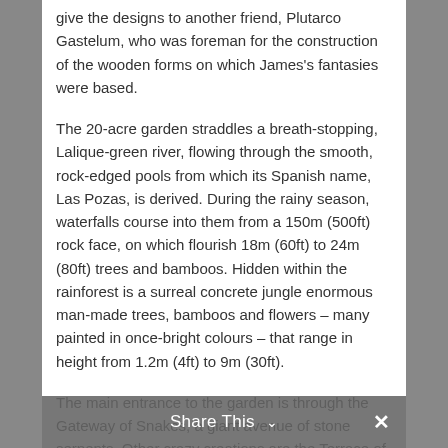give the designs to another friend, Plutarco Gastelum, who was foreman for the construction of the wooden forms on which James's fantasies were based.
The 20-acre garden straddles a breath-stopping, Lalique-green river, flowing through the smooth, rock-edged pools from which its Spanish name, Las Pozas, is derived. During the rainy season, waterfalls course into them from a 150m (500ft) rock face, on which flourish 18m (60ft) to 24m (80ft) trees and bamboos. Hidden within the rainforest is a surreal concrete jungle enormous man-made trees, bamboos and flowers – many painted in once-bright colours – that range in height from 1.2m (4ft) to 9m (30ft).
The main entrance to the garden is through the Gateway of Snakes, a giant avenue of stone serpents. Other crazy creations are the Terrace of the Tigers, the House of Three Storeys (which actually has five), the Palace, and the Cinema, with its six flights of Escher-
Share This ˅   ✕